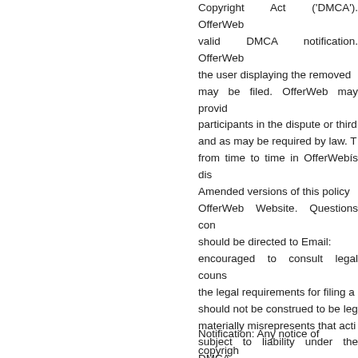Copyright Act ('DMCA'). OfferWeb valid DMCA notification. OfferWeb the user displaying the removed may be filed. OfferWeb may provid participants in the dispute or third and as may be required by law. T from time to time in OfferWebís dis Amended versions of this policy OfferWeb Website. Questions con should be directed to Email: encouraged to consult legal couns the legal requirements for filing a should not be construed to be leg materially misrepresents that acti subject to liability under the DMCA.
Notification: Any notice of copyrigh